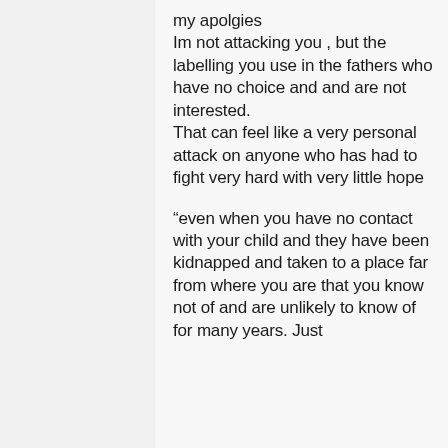my apolgies Im not attacking you , but the labelling you use in the fathers who have no choice and and are not interested. That can feel like a very personal attack on anyone who has had to fight very hard with very little hope

“even when you have no contact with your child and they have been kidnapped and taken to a place far from where you are that you know not of and are unlikely to know of for many years. Just